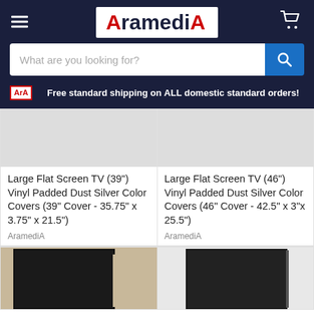[Figure (logo): AramediA logo in red and dark navy on white background, with hamburger menu and cart icon]
What are you looking for?
Free standard shipping on ALL domestic standard orders!
Large Flat Screen TV (39") Vinyl Padded Dust Silver Color Covers (39" Cover - 35.75" x 3.75" x 21.5")
AramediA
Large Flat Screen TV (46") Vinyl Padded Dust Silver Color Covers (46" Cover - 42.5" x 3"x 25.5")
AramediA
[Figure (photo): Black vinyl TV dust cover product photo on light background]
[Figure (photo): Black vinyl TV dust cover product photo on white background]